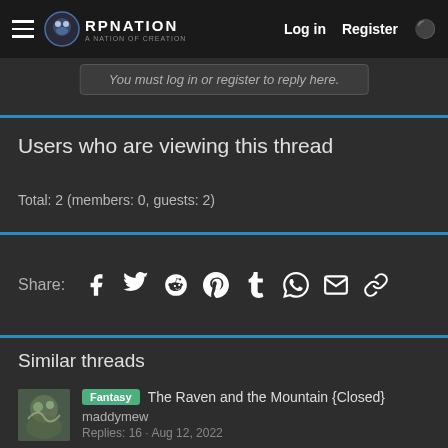RP Nation — Log in | Register
You must log in or register to reply here.
Users who are viewing this thread
Total: 2 (members: 0, guests: 2)
Share: [Facebook] [Twitter] [Reddit] [Pinterest] [Tumblr] [WhatsApp] [Email] [Link]
Similar threads
Fantasy  The Raven and the Mountain {Closed}
maddymew
Replies: 16 · Aug 12, 2022